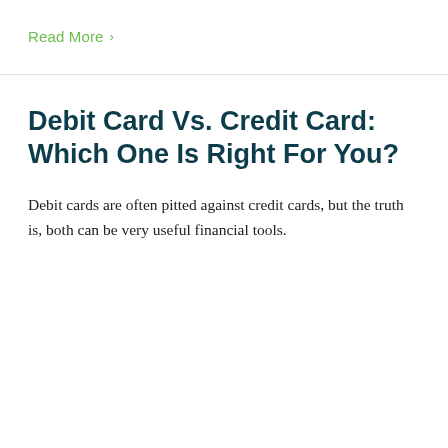Read More ›
Debit Card Vs. Credit Card: Which One Is Right For You?
Debit cards are often pitted against credit cards, but the truth is, both can be very useful financial tools.